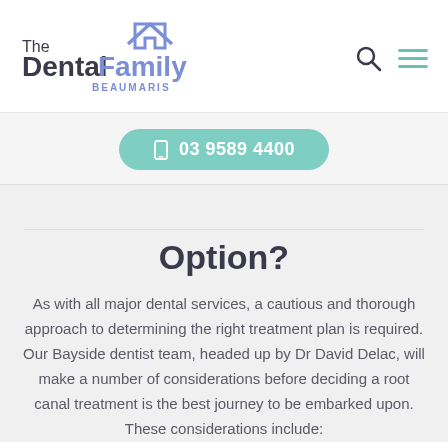[Figure (logo): The Dental Family Beaumaris logo with house icon in blue/purple]
03 9589 4400
Option?
As with all major dental services, a cautious and thorough approach to determining the right treatment plan is required. Our Bayside dentist team, headed up by Dr David Delac, will make a number of considerations before deciding a root canal treatment is the best journey to be embarked upon. These considerations include: